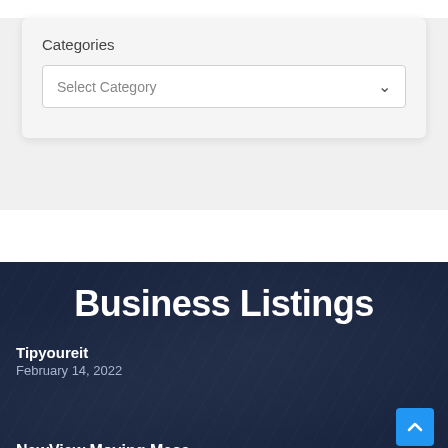Categories
Select Category
Business Listings
Tipyoureit
February 14, 2022
NewView Moving Mesa